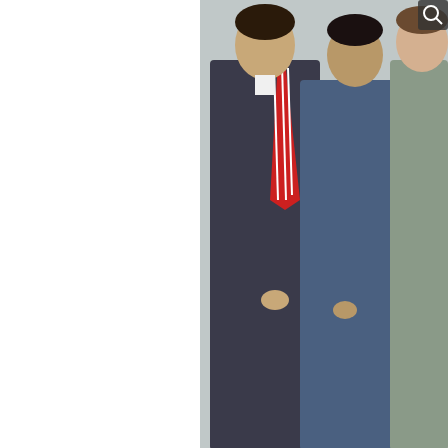[Figure (photo): Three people posing together: a man in a dark suit with a red striped tie on the left, a person in a blue jacket in the middle, and a person in a light-colored sweater on the right.]
Alex Cheek, Dr. Jim Eck, Stephanie T
LC alumni association presents annual awards
Several alumni and members of the Louisburg College Alumni Association during Homecoming festivities: Henry Douglass "Doug" Lindsay III '66 Young Alumni special presidential service award honors an alum who extraordinary service to Louisburg College through th
Read More | Post Comment
[Figure (photo): Outdoor photo of a person with trees and greenery in the background.]
Five new truste
LOUISBURG – Board of Truste The new memb